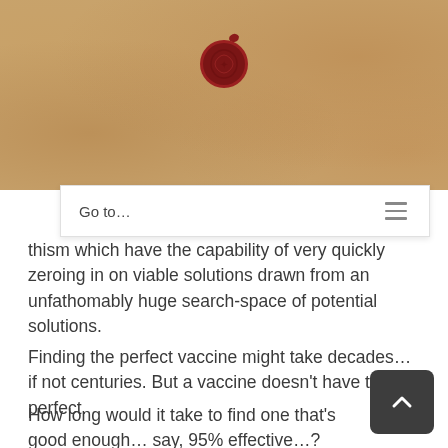[Figure (illustration): Parchment background header with a red wax seal centered at the top]
Go to...
thism which have the capability of very quickly zeroing in on viable solutions drawn from an unfathomably huge search-space of potential solutions.
Finding the perfect vaccine might take decades… if not centuries. But a vaccine doesn't have to be perfect.
How long would it take to find one that's good enough… say, 95% effective…?